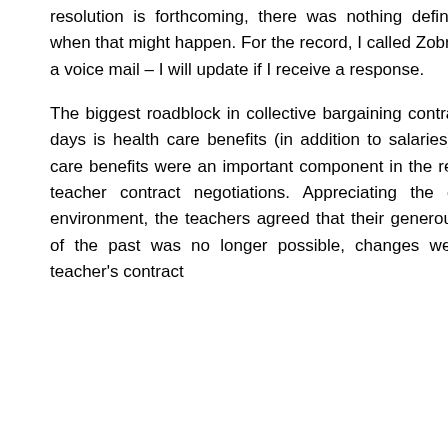resolution is forthcoming, there was nothing definitive stated as to when that might happen. For the record, I called Zobrak's office and left a voice mail – I will update if I receive a response.
The biggest roadblock in collective bargaining contract disputes these days is health care benefits (in addition to salaries). Certainly health care benefits were an important component in the recently settled T/E teacher contract negotiations. Appreciating the current economic environment, the teachers agreed that their generous healthcare plan of the past was no longer possible, changes were made in their teacher's contract